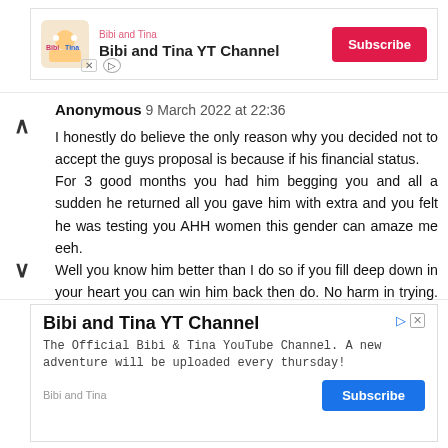[Figure (other): Bibi and Tina YT Channel advertisement banner with logo, channel name, and Subscribe button]
Anonymous 9 March 2022 at 22:36

I honestly do believe the only reason why you decided not to accept the guys proposal is because if his financial status.
For 3 good months you had him begging you and all a sudden he returned all you gave him with extra and you felt he was testing you AHH women this gender can amaze me eeh.
Well you know him better than I do so if you fill deep down in your heart you can win him back then do. No harm in trying. All for love.
[Figure (other): Bibi and Tina YT Channel advertisement with description and Subscribe button at bottom]